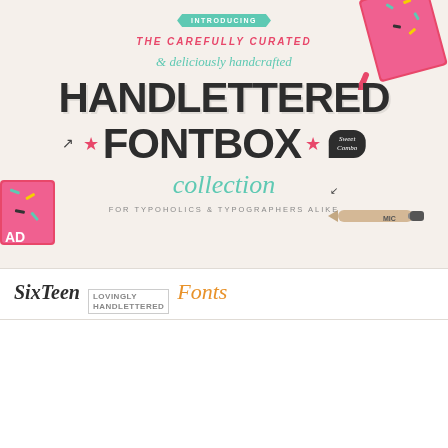INTRODUCING
THE CAREFULLY CURATED
& deliciously handcrafted
HANDLETTERED
★FONTBOX★
collection
FOR TYPOHOLICS & TYPOGRAPHERS ALIKE
SIXTEEN LOVINGLY HANDLETTERED Fonts
Boathouse
Boathouse Hollow
Boathouse
Boathouse Solid
with swashes! Loveluck
Loveluck, 2 Styles
JERONIMO BOUNCY & REGULAR
Jeronimo, 2 Styles
MASQUERADE
Masquerade, 2 Weights
JOLLY SAILOR
Woodpecker, 2 Weights
MARASCHINO
Maraschino Hollow
MARASCHINO